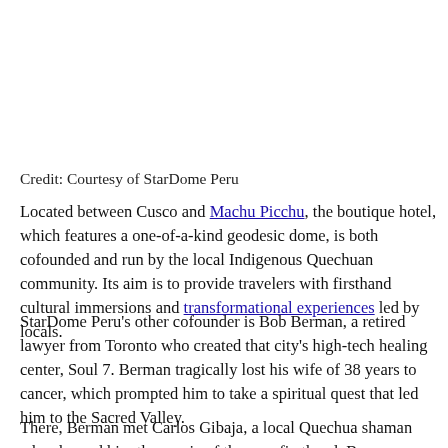Credit: Courtesy of StarDome Peru
Located between Cusco and Machu Picchu, the boutique hotel, which features a one-of-a-kind geodesic dome, is both cofounded and run by the local Indigenous Quechuan community. Its aim is to provide travelers with firsthand cultural immersions and transformational experiences led by locals.
StarDome Peru's other cofounder is Bob Berman, a retired lawyer from Toronto who created that city's high-tech healing center, Soul 7. Berman tragically lost his wife of 38 years to cancer, which prompted him to take a spiritual quest that led him to the Sacred Valley.
There, Berman met Carlos Gibaja, a local Quechua shaman who showed him the magic of the area firsthand. Berman quickly fell in love with the land, people, and energy. Upon asking Gibaja where